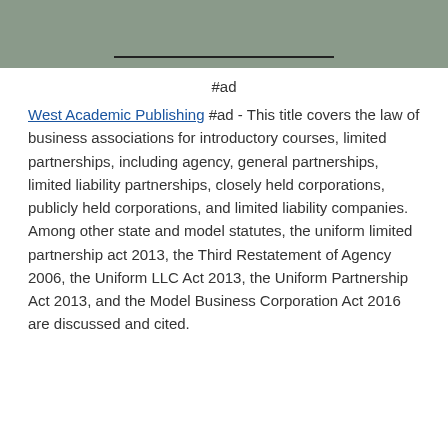[Figure (other): Gray banner with a horizontal dark line centered near the bottom]
#ad
West Academic Publishing #ad - This title covers the law of business associations for introductory courses, limited partnerships, including agency, general partnerships, limited liability partnerships, closely held corporations, publicly held corporations, and limited liability companies. Among other state and model statutes, the uniform limited partnership act 2013, the Third Restatement of Agency 2006, the Uniform LLC Act 2013, the Uniform Partnership Act 2013, and the Model Business Corporation Act 2016 are discussed and cited.